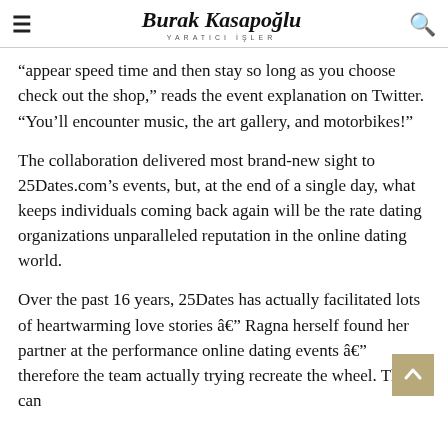Burak Kasapoğlu — YARATICI İŞLER
“appear speed time and then stay so long as you choose check out the shop,” reads the event explanation on Twitter. “You’ll encounter music, the art gallery, and motorbikes!”
The collaboration delivered most brand-new sight to 25Dates.com’s events, but, at the end of a single day, what keeps individuals coming back again will be the rate dating organizations unparalleled reputation in the online dating world.
Over the past 16 years, 25Dates has actually facilitated lots of heartwarming love stories â Ragna herself found her partner at the performance online dating events â therefore the team actually trying recreate the wheel. They can